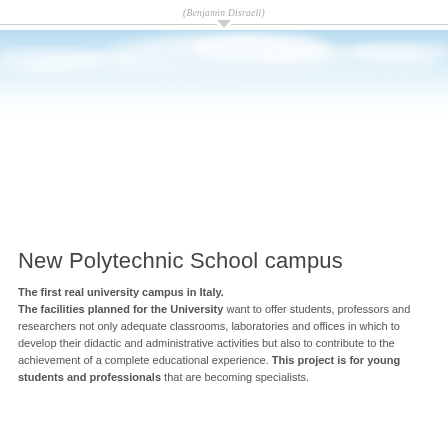(Benjamin Disraeli)
[Figure (photo): Sky photo banner with light blue sky and white clouds]
New Polytechnic School campus
The first real university campus in Italy. The facilities planned for the University want to offer students, professors and researchers not only adequate classrooms, laboratories and offices in which to develop their didactic and administrative activities but also to contribute to the achievement of a complete educational experience. This project is for young students and professionals that are becoming specialists.